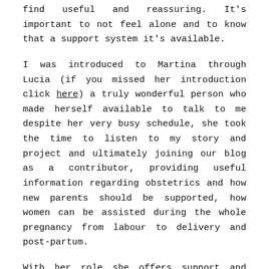find useful and reassuring. It's important to not feel alone and to know that a support system it's available.
I was introduced to Martina through Lucia (if you missed her introduction click here) a truly wonderful person who made herself available to talk to me despite her very busy schedule, she took the time to listen to my story and project and ultimately joining our blog as a contributor, providing useful information regarding obstetrics and how new parents should be supported, how women can be assisted during the whole pregnancy from labour to delivery and post-partum.
With her role she offers support and guidance to families in their own homes, helping them to take care of their own selves and newborns while emphasising the importance and need to listen to their own emotions and feelings. Martina's main roles as an obstetrician are to be a steady anchor point for mothers, partners and their newborns, for all relate subjects regarding feeding